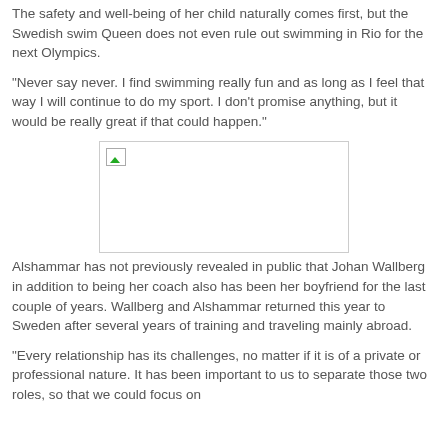The safety and well-being of her child naturally comes first, but the Swedish swim Queen does not even rule out swimming in Rio for the next Olympics.
"Never say never. I find swimming really fun and as long as I feel that way I will continue to do my sport. I don't promise anything, but it would be really great if that could happen."
[Figure (photo): Broken/missing image placeholder (white rectangle with border and small broken image icon)]
Alshammar has not previously revealed in public that Johan Wallberg in addition to being her coach also has been her boyfriend for the last couple of years. Wallberg and Alshammar returned this year to Sweden after several years of training and traveling mainly abroad.
"Every relationship has its challenges, no matter if it is of a private or professional nature. It has been important to us to separate those two roles, so that we could focus on